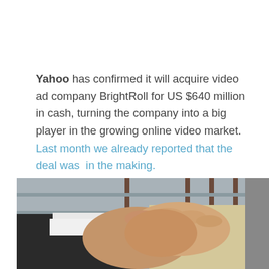Yahoo has confirmed it will acquire video ad company BrightRoll for US $640 million in cash, turning the company into a big player in the growing online video market. Last month we already reported that the deal was in the making.
[Figure (photo): Close-up photograph of two people shaking hands, one person in a dark suit with white shirt cuff visible, the other in a light/cream colored jacket, with a window grid pattern visible in the background.]